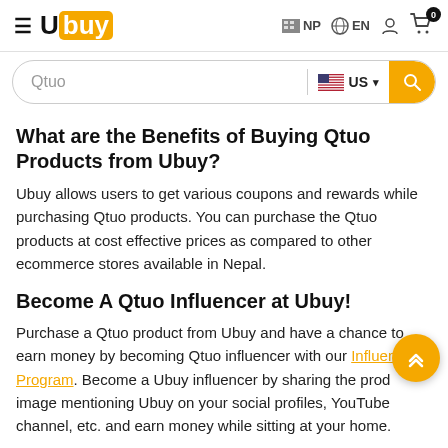[Figure (screenshot): Ubuy website header with hamburger menu, Ubuy logo, NP flag/country selector, EN language selector, user icon, and cart icon with badge showing 0]
[Figure (screenshot): Search bar with placeholder text 'Qtuo', US flag country selector, dropdown arrow, and orange search button]
What are the Benefits of Buying Qtuo Products from Ubuy?
Ubuy allows users to get various coupons and rewards while purchasing Qtuo products. You can purchase the Qtuo products at cost effective prices as compared to other ecommerce stores available in Nepal.
Become A Qtuo Influencer at Ubuy!
Purchase a Qtuo product from Ubuy and have a chance to earn money by becoming Qtuo influencer with our Influencer Program. Become a Ubuy influencer by sharing the product image mentioning Ubuy on your social profiles, YouTube channel, etc. and earn money while sitting at your home.